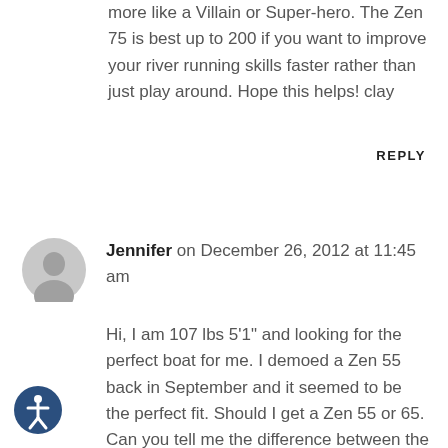more like a Villain or Super-hero. The Zen 75 is best up to 200 if you want to improve your river running skills faster rather than just play around. Hope this helps! clay
REPLY
Jennifer on December 26, 2012 at 11:45 am
Hi, I am 107 lbs 5'1" and looking for the perfect boat for me. I demoed a Zen 55 back in September and it seemed to be the perfect fit. Should I get a Zen 55 or 65. Can you tell me the difference between the little hero and the Zen 55. The little hero